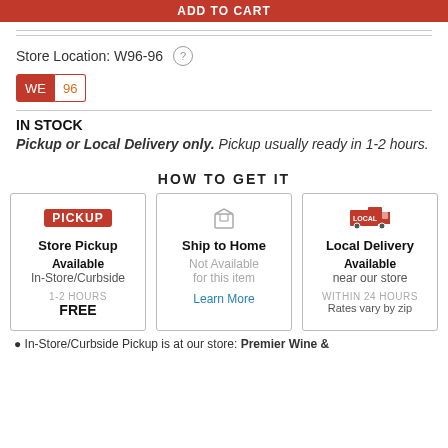ADD TO CART
Store Location: W96-96 ?
WE 96
IN STOCK
Pickup or Local Delivery only. Pickup usually ready in 1-2 hours.
HOW TO GET IT
Store Pickup
Available
In-Store/Curbside
1-2 HOURS
FREE
Ship to Home
Not Available
for this item
Learn More
Local Delivery
Available
near our store
WITHIN 24 HOURS
Rates vary by zip
In-Store/Curbside Pickup is at our store: Premier Wine &